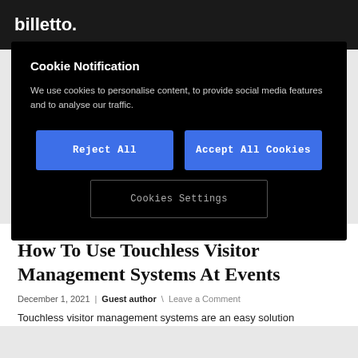billetto.
Cookie Notification
We use cookies to personalise content, to provide social media features and to analyse our traffic.
Reject All
Accept All Cookies
Cookies Settings
How To Use Touchless Visitor Management Systems At Events
December 1, 2021 | Guest author \ Leave a Comment
Touchless visitor management systems are an easy solution